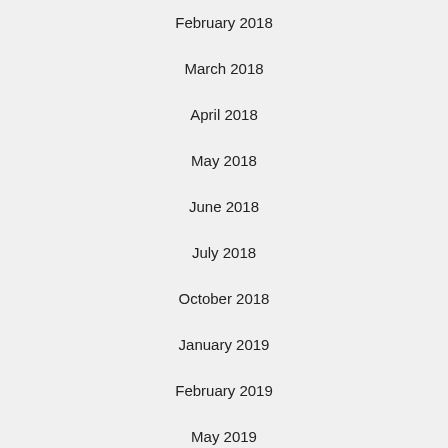February 2018
March 2018
April 2018
May 2018
June 2018
July 2018
October 2018
January 2019
February 2019
May 2019
June 2019
July 2019